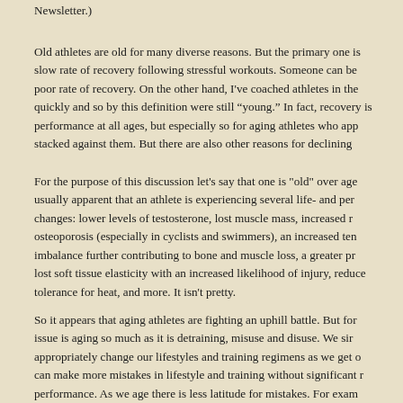Newsletter.)
Old athletes are old for many diverse reasons. But the primary one is slow rate of recovery following stressful workouts. Someone can be poor rate of recovery. On the other hand, I've coached athletes in the quickly and so by this definition were still "young." In fact, recovery is performance at all ages, but especially so for aging athletes who app stacked against them. But there are also other reasons for declining
For the purpose of this discussion let's say that one is "old" over age usually apparent that an athlete is experiencing several life- and per changes: lower levels of testosterone, lost muscle mass, increased r osteoporosis (especially in cyclists and swimmers), an increased ten imbalance further contributing to bone and muscle loss, a greater pr lost soft tissue elasticity with an increased likelihood of injury, reduce tolerance for heat, and more. It isn't pretty.
So it appears that aging athletes are fighting an uphill battle. But for issue is aging so much as it is detraining, misuse and disuse. We sir appropriately change our lifestyles and training regimens as we get o can make more mistakes in lifestyle and training without significant r performance. As we age there is less latitude for mistakes. For exam